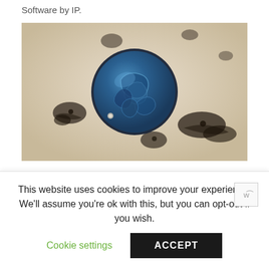Software by IP.
[Figure (photo): A dark blue ornate circular medallion or coin object with swirling relief patterns, set against a beige/cream textured background with dark ink or smoke splatter marks around it.]
I thought this was all about discovering a card's worth. Once registered and logged in, you will be able to
This website uses cookies to improve your experience. We'll assume you're ok with this, but you can opt-out if you wish.
Cookie settings
ACCEPT